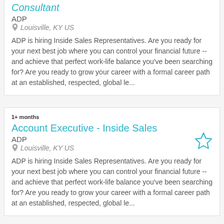Consultant
ADP
Louisville, KY US
ADP is hiring Inside Sales Representatives. Are you ready for your next best job where you can control your financial future -- and achieve that perfect work-life balance you've been searching for? Are you ready to grow your career with a formal career path at an established, respected, global le...
1+ months
Account Executive - Inside Sales
ADP
Louisville, KY US
ADP is hiring Inside Sales Representatives. Are you ready for your next best job where you can control your financial future -- and achieve that perfect work-life balance you've been searching for? Are you ready to grow your career with a formal career path at an established, respected, global le...